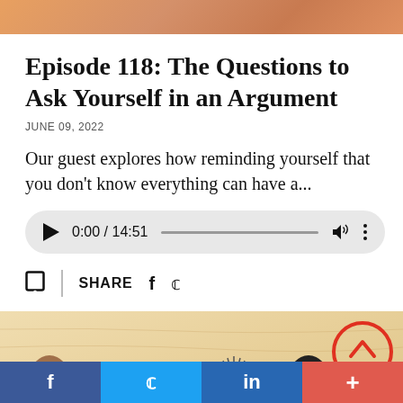[Figure (photo): Top partial image, warm orange/brown tones, cropped faces]
Episode 118: The Questions to Ask Yourself in an Argument
JUNE 09, 2022
Our guest explores how reminding yourself that you don't know everything can have a...
[Figure (other): Audio player with play button, time 0:00 / 14:51, progress bar, volume and options icons]
SHARE  f  y
[Figure (illustration): Bottom illustration with colorful concentric arcs, lightbulb figure in center, two people flanking, red circle with chevron up on right, wooden texture background]
f  y  in  +